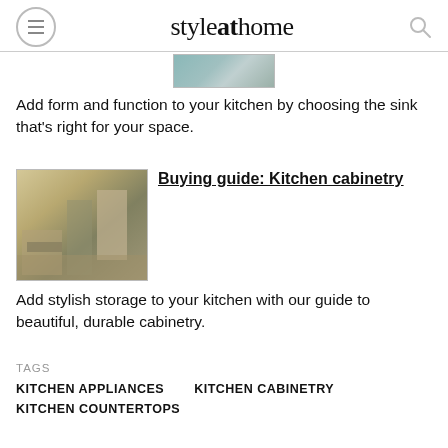styleathome
[Figure (photo): Partial kitchen image showing sink hardware]
Add form and function to your kitchen by choosing the sink that's right for your space.
[Figure (photo): Kitchen cabinetry with appliances, countertop, and sink]
Buying guide: Kitchen cabinetry
Add stylish storage to your kitchen with our guide to beautiful, durable cabinetry.
TAGS
KITCHEN APPLIANCES
KITCHEN CABINETRY
KITCHEN COUNTERTOPS